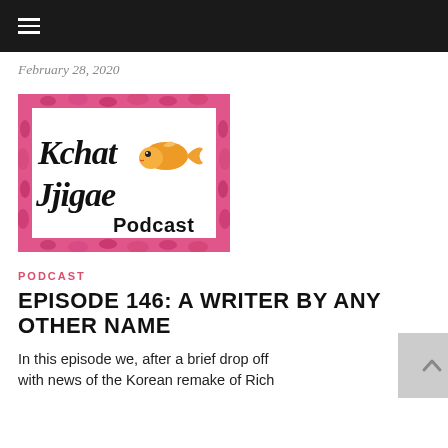☰
February 28, 2020
[Figure (logo): Kchat Jjigae Podcast logo: white background with pink rough decorative border, cursive black text reading 'Kchat Jjigae' with a goldfish illustration and bold text 'Podcast']
PODCAST
EPISODE 146: A WRITER BY ANY OTHER NAME
In this episode we, after a brief drop off with news of the Korean remake of Rich...